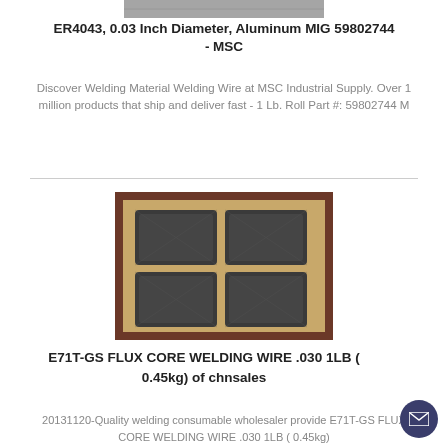[Figure (photo): Partial image of welding wire spool/coil at top of page]
ER4043, 0.03 Inch Diameter, Aluminum MIG 59802744 - MSC
Discover Welding Material Welding Wire at MSC Industrial Supply. Over 1 million products that ship and deliver fast - 1 Lb. Roll Part #: 59802744 M
[Figure (photo): Shipping container opened showing four large bulk bags of welding wire]
E71T-GS FLUX CORE WELDING WIRE .030 1LB (0.45kg) of chnsales
20131120-Quality welding consumable wholesaler provide E71T-GS FLUX CORE WELDING WIRE .030 1LB (0.45kg)